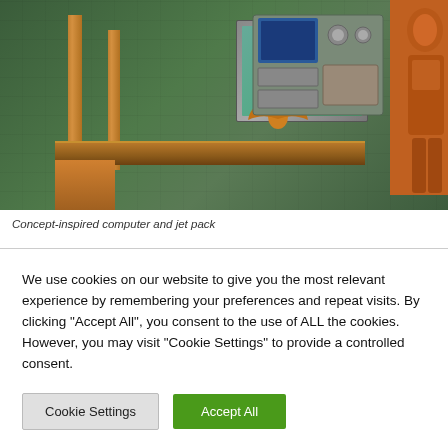[Figure (photo): Photo of a toy/model play set scene showing a wooden shelf/platform structure against a dark green stone-textured wall. Orange wooden vertical posts support a horizontal shelf. On the wall hang various equipment panels including what appears to be a computer screen and control panels. An orange bat/dragon figurine sits on the shelf. A silver/orange armored figure stands at the far right.]
Concept-inspired computer and jet pack
We use cookies on our website to give you the most relevant experience by remembering your preferences and repeat visits. By clicking "Accept All", you consent to the use of ALL the cookies. However, you may visit "Cookie Settings" to provide a controlled consent.
Cookie Settings
Accept All